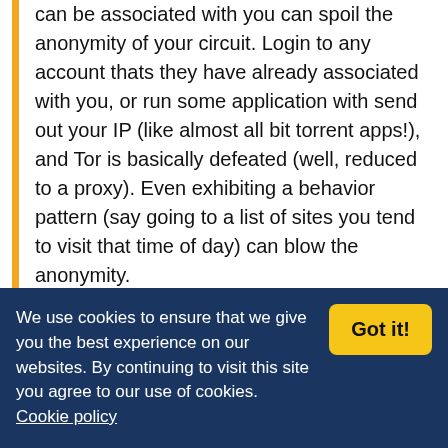can be associated with you can spoil the anonymity of your circuit. Login to any account thats they have already associated with you, or run some application with send out your IP (like almost all bit torrent apps!), and Tor is basically defeated (well, reduced to a proxy). Even exhibiting a behavior pattern (say going to a list of sites you tend to visit that time of day) can blow the anonymity.
Just dumping multiple people behind Tor and expecting it to help sounds very nieve.
We use cookies to ensure that we give you the best experience on our websites. By continuing to visit this site you agree to our use of cookies. Cookie policy